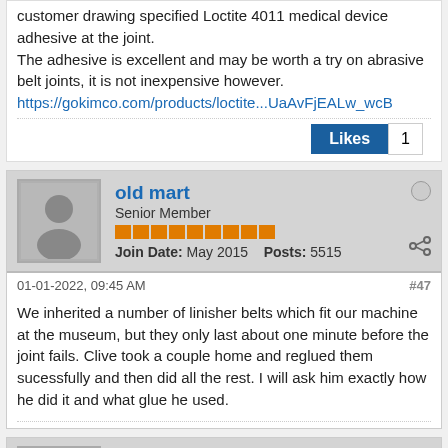customer drawing specified Loctite 4011 medical device adhesive at the joint.
The adhesive is excellent and may be worth a try on abrasive belt joints, it is not inexpensive however.
https://gokimco.com/products/loctite...UaAvFjEALw_wcB
old mart
Senior Member
Join Date: May 2015   Posts: 5515
01-01-2022, 09:45 AM
#47
We inherited a number of linisher belts which fit our machine at the museum, but they only last about one minute before the joint fails. Clive took a couple home and reglued them sucessfully and then did all the rest. I will ask him exactly how he did it and what glue he used.
Spades
Junior Member